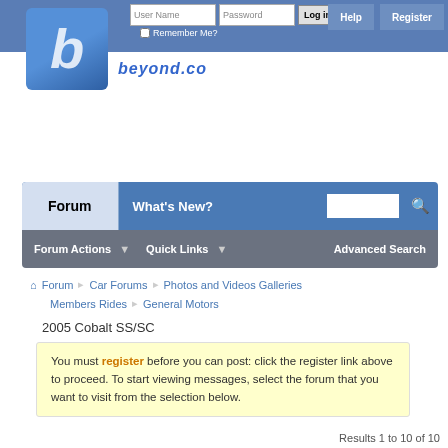[Figure (screenshot): Website header with logo, login form, Help and Register buttons, and site name 'beyond.co']
[Figure (screenshot): Navigation bar with Forum, What's New?, search box tabs and sub-nav with Forum Actions, Quick Links, Advanced Search]
Forum  Car Forums  Photos and Videos Galleries  Members Rides  General Motors
2005 Cobalt SS/SC
You must register before you can post: click the register link above to proceed. To start viewing messages, select the forum that you want to visit from the selection below.
Results 1 to 10 of 10